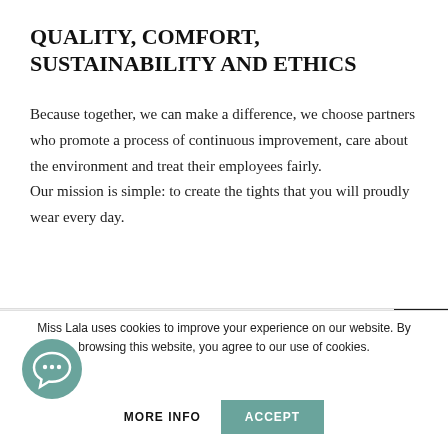QUALITY, COMFORT, SUSTAINABILITY AND ETHICS
Because together, we can make a difference, we choose partners who promote a process of continuous improvement, care about the environment and treat their employees fairly.
Our mission is simple: to create the tights that you will proudly wear every day.
Tights Care
Miss Lala uses cookies to improve your experience on our website. By browsing this website, you agree to our use of cookies.
MORE INFO   ACCEPT